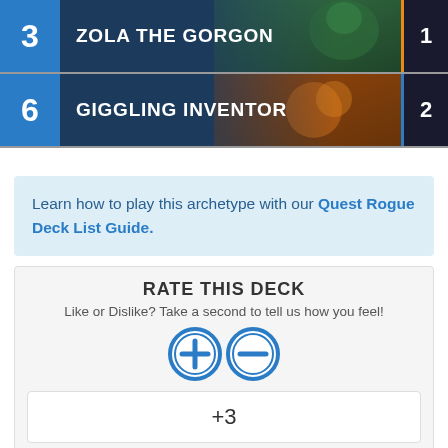[Figure (other): Card row for Zola the Gorgon: cost 3, count 1, with dark fantasy artwork]
[Figure (other): Card row for Giggling Inventor: cost 6, count 2, with cartoon gnome artwork]
Learn how to play this archetype with our Quest Rogue Deck List Guide.
RATE THIS DECK
Like or Dislike? Take a second to tell us how you feel!
[Figure (other): Plus and minus circular voting buttons]
+3